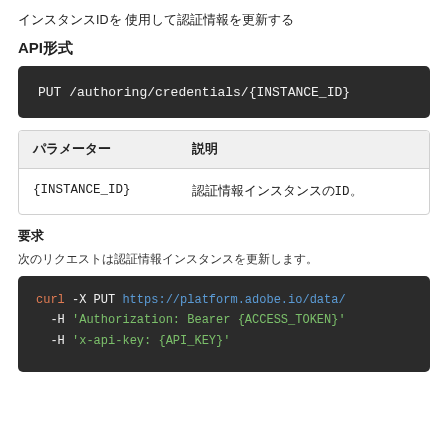インスタンスIDを 使用して認証情報を更新する
API形式
PUT /authoring/credentials/{INSTANCE_ID}
| パラメーター | 説明 |
| --- | --- |
| {INSTANCE_ID} | 認証情報インスタンスのID。 |
要求
次のリクエストは認証情報インスタンスを更新します。
curl -X PUT https://platform.adobe.io/data/... -H 'Authorization: Bearer {ACCESS_TOKEN}'